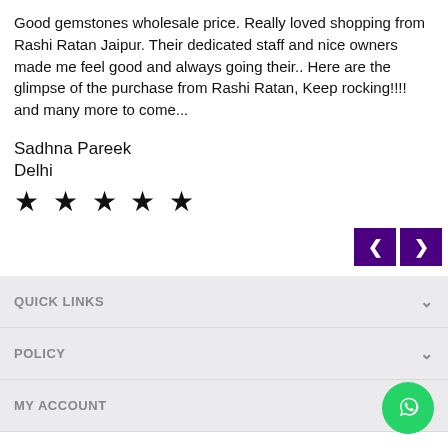Good gemstones wholesale price. Really loved shopping from Rashi Ratan Jaipur. Their dedicated staff and nice owners made me feel good and always going their.. Here are the glimpse of the purchase from Rashi Ratan, Keep rocking!!!! and many more to come...
Sadhna Pareek
Delhi
★★★★★
[Figure (other): Navigation buttons: left arrow and right arrow on purple background]
QUICK LINKS
POLICY
MY ACCOUNT
[Figure (other): WhatsApp contact button (green circle with WhatsApp logo)]